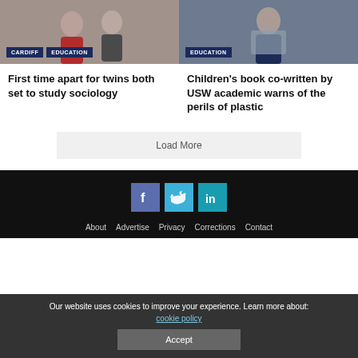[Figure (photo): Photo of twin students, with CARDIFF and EDUCATION tags]
[Figure (photo): Photo of student holding books/materials, with EDUCATION tag]
First time apart for twins both set to study sociology
Children's book co-written by USW academic warns of the perils of plastic
Load More
[Figure (infographic): Social media icons: Facebook, Twitter, LinkedIn]
About  Advertise  Privacy  Corrections  Contact
Our website uses cookies to improve your experience. Learn more about: cookie policy
Accept